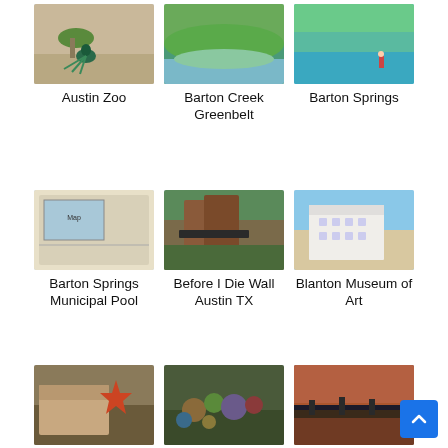[Figure (photo): Austin Zoo - peacock in sandy area]
Austin Zoo
[Figure (photo): Barton Creek Greenbelt - green hillside with water]
Barton Creek Greenbelt
[Figure (photo): Barton Springs - turquoise water with person]
Barton Springs
[Figure (photo): Barton Springs Municipal Pool - map/sign photo]
Barton Springs Municipal Pool
[Figure (photo): Before I Die Wall Austin TX - rustic building exterior]
Before I Die Wall Austin TX
[Figure (photo): Blanton Museum of Art - modern white building]
Blanton Museum of Art
[Figure (photo): Bullock Texas State - building with large sculpture]
Bullock Texas State
[Figure (photo): Cathedral of Junk - colorful junk art installation]
Cathedral of Junk
[Figure (photo): Congress Avenue - bridge at sunset]
Congress Avenue